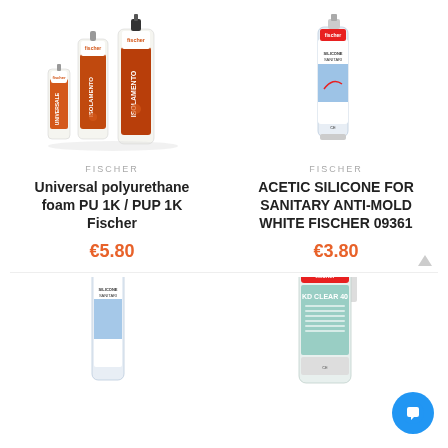[Figure (photo): Fischer universal polyurethane foam cans PU 1K / PUP 1K, three cans of varying sizes]
[Figure (photo): Fischer acetic silicone cartridge for sanitary anti-mold white]
FISCHER
FISCHER
Universal polyurethane foam PU 1K / PUP 1K Fischer
ACETIC SILICONE FOR SANITARY ANTI-MOLD WHITE FISCHER 09361
€5.80
€3.80
[Figure (photo): Fischer silicone sanitari cartridge (partial, bottom of page)]
[Figure (photo): Fischer KD Clear 40 cartridge with applicator nozzle (partial, bottom of page)]